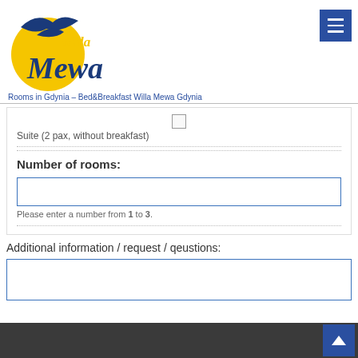[Figure (logo): Willa Mewa logo: yellow sun with blue bird on top, stylized blue text 'Mewa' with 'Willa' in yellow cursive above]
Rooms in Gdynia – Bed&Breakfast Willa Mewa Gdynia
Suite (2 pax, without breakfast)
Number of rooms:
Please enter a number from 1 to 3.
Additional information / request / qeustions: